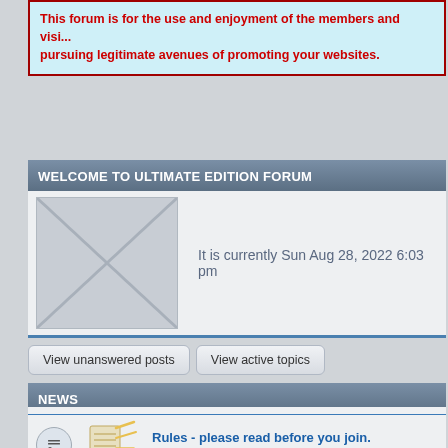This forum is for the use and enjoyment of the members and visitors. We ask that you refrain from pursuing legitimate avenues of promoting your websites.
WELCOME TO ULTIMATE EDITION FORUM
It is currently Sun Aug 28, 2022 6:03 pm
View unanswered posts
View active topics
NEWS
News and Events — News & Events etc. will be posted here.
Rules - please read before you join. — Rules for posting...